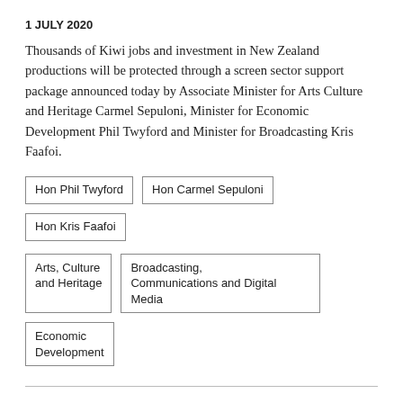1 JULY 2020
Thousands of Kiwi jobs and investment in New Zealand productions will be protected through a screen sector support package announced today by Associate Minister for Arts Culture and Heritage Carmel Sepuloni, Minister for Economic Development Phil Twyford and Minister for Broadcasting Kris Faafoi.
Hon Phil Twyford
Hon Carmel Sepuloni
Hon Kris Faafoi
Arts, Culture and Heritage
Broadcasting, Communications and Digital Media
Economic Development
New fund to help save local events and jobs
1 JULY 2020
The Government has established a new $10 million fund for